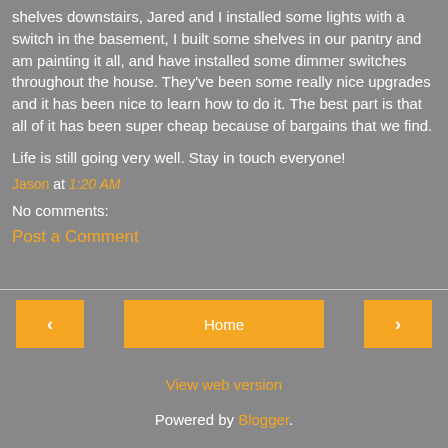shelves downstairs, Jared and I installed some lights with a switch in the basement, I built some shelves in our pantry and am painting it all, and have installed some dimmer switches throughout the house. They've been some really nice upgrades and it has been nice to learn how to do it. The best part is that all of it has been super cheap because of bargains that we find.
Life is still going very well. Stay in touch everyone!
Jason at 1:20 AM
No comments:
Post a Comment
◄  Home  ►
View web version
Powered by Blogger.